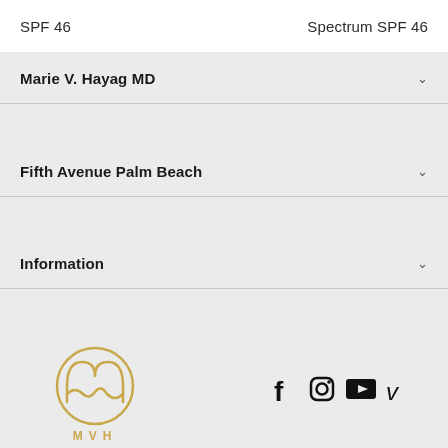SPF 46    Spectrum SPF 46
Marie V. Hayag MD
Fifth Avenue Palm Beach
Information
[Figure (logo): MVH circular logo in gold with stylized M inside a circle, text MVH below]
[Figure (other): Social media icons: Facebook, Instagram, YouTube, Vimeo]